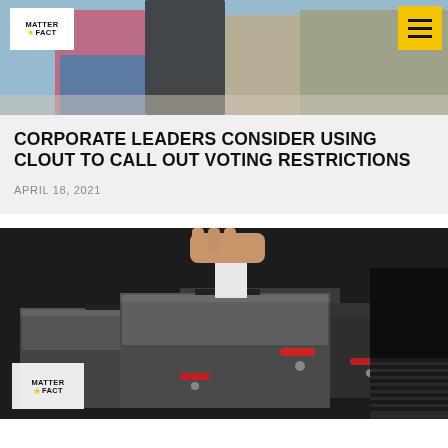[Figure (photo): Top banner photo showing people in line, likely at a polling place or public venue, with blurred figures in the background]
CORPORATE LEADERS CONSIDER USING CLOUT TO CALL OUT VOTING RESTRICTIONS
APRIL 18, 2021
[Figure (photo): Close-up photo of ballot drop boxes/voting equipment with a hand inserting a ballot. Matter of Fact logo visible in lower left corner.]